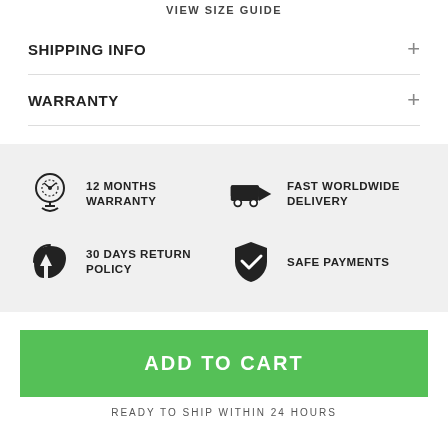VIEW SIZE GUIDE
SHIPPING INFO
WARRANTY
[Figure (infographic): Four feature badges in a 2x2 grid on grey background: medal icon '12 MONTHS WARRANTY', truck icon 'FAST WORLDWIDE DELIVERY', return box icon '30 DAYS RETURN POLICY', shield checkmark icon 'SAFE PAYMENTS']
ADD TO CART
READY TO SHIP WITHIN 24 HOURS